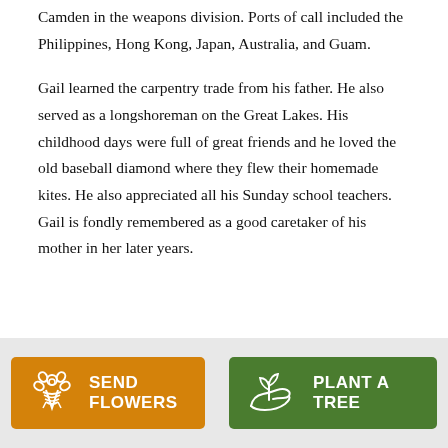Camden in the weapons division. Ports of call included the Philippines, Hong Kong, Japan, Australia, and Guam.
Gail learned the carpentry trade from his father. He also served as a longshoreman on the Great Lakes. His childhood days were full of great friends and he loved the old baseball diamond where they flew their homemade kites. He also appreciated all his Sunday school teachers. Gail is fondly remembered as a good caretaker of his mother in her later years.
[Figure (infographic): Two call-to-action buttons: orange 'SEND FLOWERS' button with flower bouquet icon, and green 'PLANT A TREE' button with seedling hand icon.]